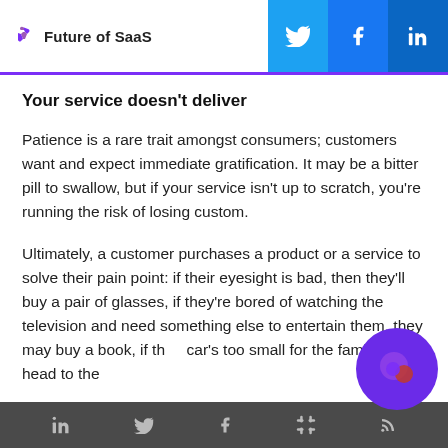Future of SaaS
Your service doesn't deliver
Patience is a rare trait amongst consumers; customers want and expect immediate gratification. It may be a bitter pill to swallow, but if your service isn't up to scratch, you're running the risk of losing custom.
Ultimately, a customer purchases a product or a service to solve their pain point: if their eyesight is bad, then they'll buy a pair of glasses, if they're bored of watching the television and need something else to entertain them, they may buy a book, if the car's too small for the family, they'll head to the